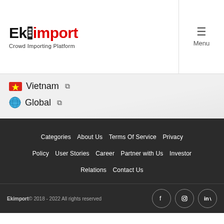[Figure (logo): Ekimport logo with a box icon between 'Ek' and 'import', with 'Crowd Importing Platform' tagline below]
Menu
Vietnam (external link)
Global (external link)
Categories  About Us  Terms Of Service  Privacy Policy  User Stories  Career  Partner with Us  Investor Relations  Contact Us
Ekimport© 2018 - 2022 All rights reserved